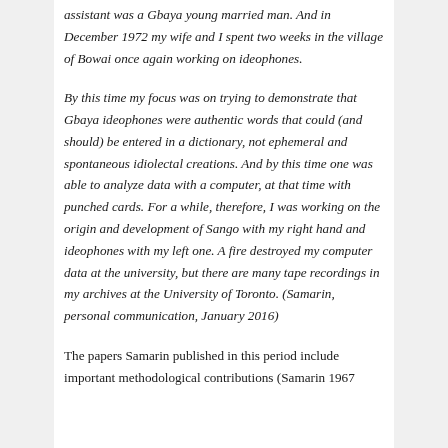assistant was a Gbaya young married man. And in December 1972 my wife and I spent two weeks in the village of Bowai once again working on ideophones.
By this time my focus was on trying to demonstrate that Gbaya ideophones were authentic words that could (and should) be entered in a dictionary, not ephemeral and spontaneous idiolectal creations. And by this time one was able to analyze data with a computer, at that time with punched cards. For a while, therefore, I was working on the origin and development of Sango with my right hand and ideophones with my left one. A fire destroyed my computer data at the university, but there are many tape recordings in my archives at the University of Toronto. (Samarin, personal communication, January 2016)
The papers Samarin published in this period include important methodological contributions (Samarin 1967...